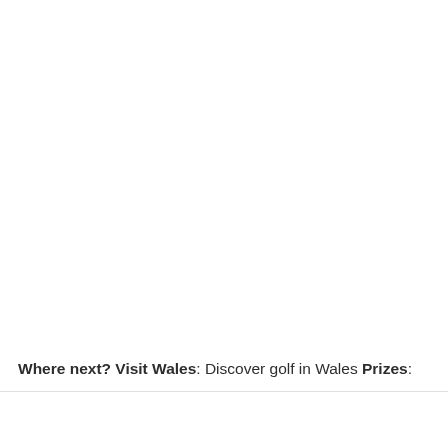Where next? Visit Wales: Discover golf in Wales Prizes: